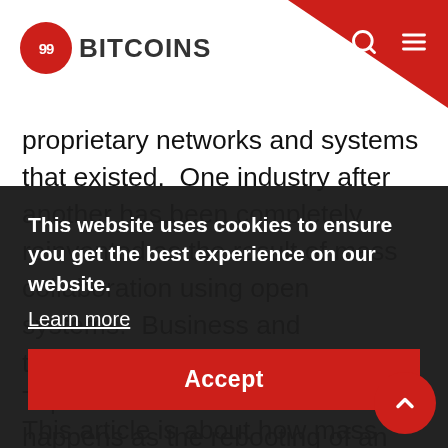99Bitcoins
proprietary networks and systems that existed. One industry after another has been completely reinvented as the result of mass collaboration using open systems. Business and technology book author Don Tapscott refers to when this happens as the rebooting of an industry.
This article is about how mass collaboration and open systems are being used somewhere new entirely. If you're looking at what I am looking at you too might conclude that this is something that deserves your attention. What I'm looking at is Bitcoin. When I look at Bitcoin I see the reboot of our systems of money.
This website uses cookies to ensure you get the best experience on our website.
Learn more
Accept